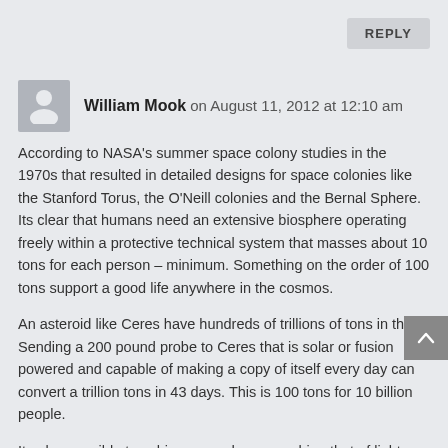REPLY
William Mook on August 11, 2012 at 12:10 am
According to NASA's summer space colony studies in the 1970s that resulted in detailed designs for space colonies like the Stanford Torus, the O'Neill colonies and the Bernal Sphere. Its clear that humans need an extensive biosphere operating freely within a protective technical system that masses about 10 tons for each person – minimum. Something on the order of 100 tons support a good life anywhere in the cosmos.
An asteroid like Ceres have hundreds of trillions of tons in them. Sending a 200 pound probe to Ceres that is solar or fusion powered and capable of making a copy of itself every day can convert a trillion tons in 43 days. This is 100 tons for 10 billion people.
Its also possible to achieve speeds approaching that of light